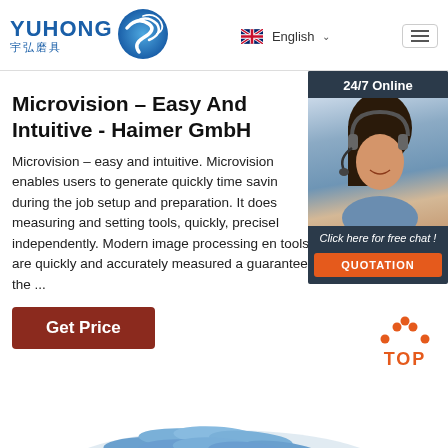YUHONG 宇弘磨具 | English | Navigation
Microvision – Easy And Intuitive - Haimer GmbH
Microvision – easy and intuitive. Microvision enables users to generate quickly time saving during the job setup and preparation. It does measuring and setting tools, quickly, precisely independently. Modern image processing en tools are quickly and accurately measured a guarantees the ...
[Figure (photo): Customer service representative woman smiling with headset, on dark blue background with 24/7 Online text and Click here for free chat! QUOTATION button]
Get Price
[Figure (other): TOP button with orange dots and text in bottom right]
[Figure (photo): Blue flap disc abrasive product partially visible at bottom of page]